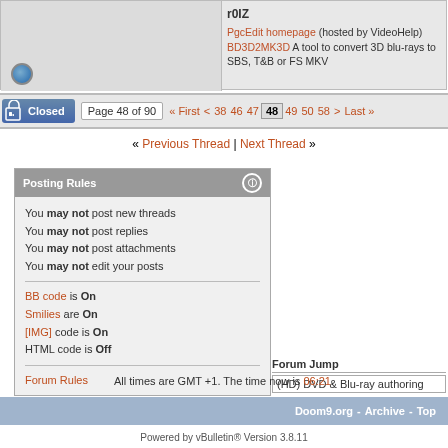r0IZ
PgcEdit homepage (hosted by VideoHelp)
BD3D2MK3D A tool to convert 3D blu-rays to SBS, T&B or FS MKV
Closed | Page 48 of 90 « First < 38 46 47 48 49 50 58 > Last »
« Previous Thread | Next Thread »
Posting Rules
You may not post new threads
You may not post replies
You may not post attachments
You may not edit your posts
BB code is On
Smilies are On
[IMG] code is On
HTML code is Off
Forum Rules
Forum Jump
(HD) DVD & Blu-ray authoring
All times are GMT +1. The time now is 06:21.
Doom9.org - Archive - Top
Powered by vBulletin® Version 3.8.11
Copyright ©2000 - 2022, vBulletin Solutions Inc.